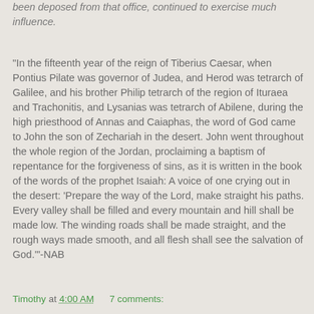been deposed from that office, continued to exercise much influence.
"In the fifteenth year of the reign of Tiberius Caesar, when Pontius Pilate was governor of Judea, and Herod was tetrarch of Galilee, and his brother Philip tetrarch of the region of Ituraea and Trachonitis, and Lysanias was tetrarch of Abilene, during the high priesthood of Annas and Caiaphas, the word of God came to John the son of Zechariah in the desert. John went throughout the whole region of the Jordan, proclaiming a baptism of repentance for the forgiveness of sins, as it is written in the book of the words of the prophet Isaiah: A voice of one crying out in the desert: 'Prepare the way of the Lord, make straight his paths. Every valley shall be filled and every mountain and hill shall be made low. The winding roads shall be made straight, and the rough ways made smooth, and all flesh shall see the salvation of God.'" -NAB
Timothy at 4:00 AM    7 comments: